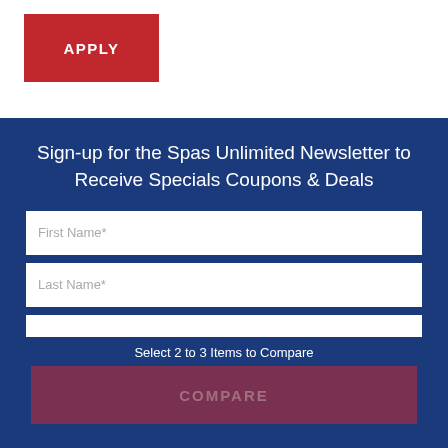APPLY
Sign-up for the Spas Unlimited Newsletter to Receive Specials Coupons & Deals
First Name*
Last Name*
Select 2 to 3 Items to Compare
COMPARE